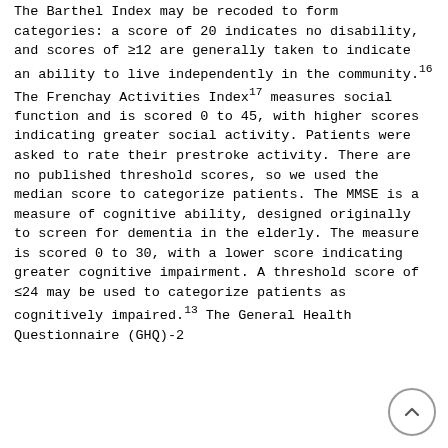The Barthel Index may be recoded to form categories: a score of 20 indicates no disability, and scores of ≥12 are generally taken to indicate an ability to live independently in the community.16 The Frenchay Activities Index17 measures social function and is scored 0 to 45, with higher scores indicating greater social activity. Patients were asked to rate their prestroke activity. There are no published threshold scores, so we used the median score to categorize patients. The MMSE is a measure of cognitive ability, designed originally to screen for dementia in the elderly. The measure is scored 0 to 30, with a lower score indicating greater cognitive impairment. A threshold score of ≤24 may be used to categorize patients as cognitively impaired.13 The General Health Questionnaire (GHQ)-2